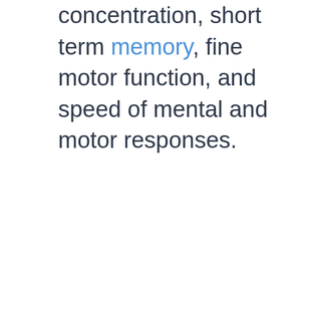concentration, short term memory, fine motor function, and speed of mental and motor responses.